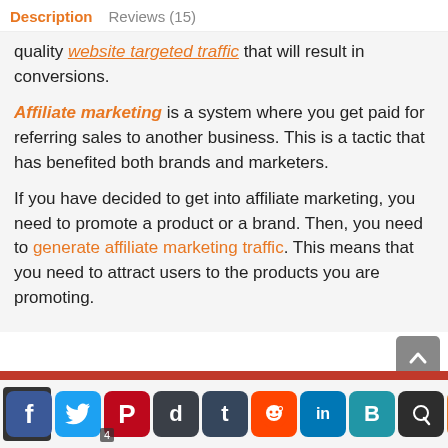Description   Reviews (15)
quality website targeted traffic that will result in conversions.
Affiliate marketing is a system where you get paid for referring sales to another business. This is a tactic that has benefited both brands and marketers.
If you have decided to get into affiliate marketing, you need to promote a product or a brand. Then, you need to generate affiliate marketing traffic. This means that you need to attract users to the products you are promoting.
[Figure (screenshot): Social media sharing icon bar at the bottom: Facebook, Twitter, Pinterest, Digg, Tumblr, Reddit, LinkedIn, Blogger, Quora, +, and another icon]